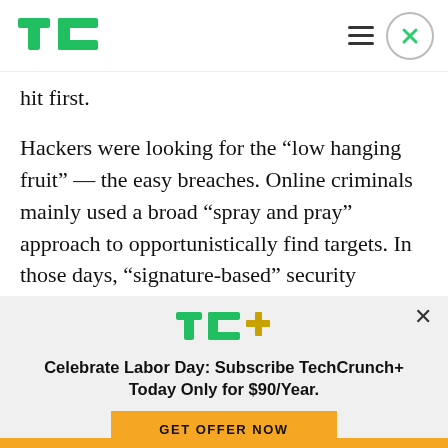[Figure (logo): TechCrunch logo (TC in green) in navbar]
hit first.
Hackers were looking for the “low hanging fruit” — the easy breaches. Online criminals mainly used a broad “spray and pray” approach to opportunistically find targets. In those days, “signature-based” security solutions, which tried to
[Figure (logo): TC+ logo in green with plus sign in yellow/green]
Celebrate Labor Day: Subscribe TechCrunch+ Today Only for $90/Year.
GET OFFER NOW